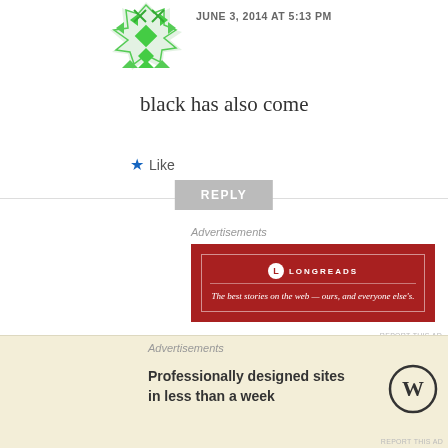[Figure (illustration): Green geometric avatar (partial, top-cropped)]
JUNE 3, 2014 AT 5:13 PM
black has also come
★ Like
REPLY
Advertisements
[Figure (other): Longreads advertisement banner (red background): LONGREADS — The best stories on the web — ours, and everyone else's.]
REPORT THIS AD
[Figure (illustration): Blue geometric animal avatar (Maverick)]
Maverick
JUNE 3, 2014 AT 5:23 PM
Advertisements
Professionally designed sites in less than a week
[Figure (logo): WordPress logo (W in circle)]
REPORT THIS AD